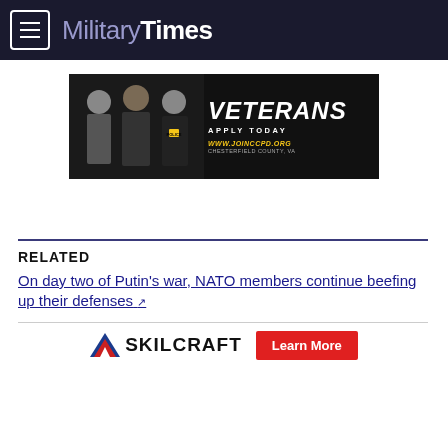MilitaryTimes
[Figure (photo): Advertisement banner for Chesterfield County Police Department veteran recruitment. Shows three law enforcement officers against a dark background with an American flag. Text reads: VETERANS APPLY TODAY WWW.JOINCCPD.ORG CHESTERFIELD COUNTY, VA]
RELATED
On day two of Putin's war, NATO members continue beefing up their defenses
[Figure (logo): Skilcraft logo with red/blue chevron icon and SKILCRAFT text, alongside a red Learn More button]